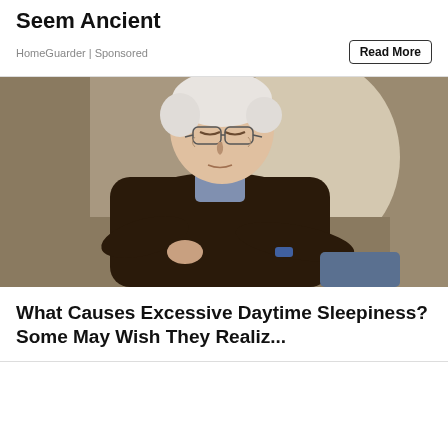Seem Ancient
HomeGuarder | Sponsored
[Figure (photo): An elderly man with white hair and glasses sleeping in a large armchair with arms crossed, wearing a dark sweater over a plaid shirt]
What Causes Excessive Daytime Sleepiness? Some May Wish They Realiz...